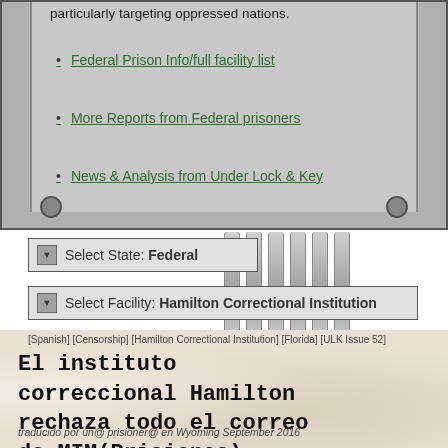particularly targeting oppressed nations.
Federal Prison Info/full facility list
More Reports from Federal prisoners
News & Analysis from Under Lock & Key
Select State: Federal
Select Facility: Hamilton Correctional Institution
[Spanish] [Censorship] [Hamilton Correctional Institution] [Florida] [ULK Issue 52]
El instituto correccional Hamilton rechaza todo el correo de MIM(Prisiones)
traducido por un@ prisioner@ en Wyoming September 2016